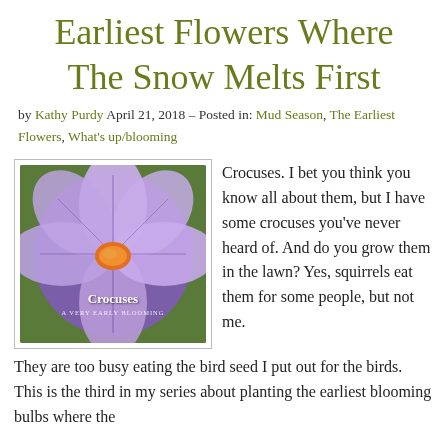Earliest Flowers Where The Snow Melts First
by Kathy Purdy April 21, 2018 – Posted in: Mud Season, The Earliest Flowers, What's up/blooming
[Figure (photo): Close-up photo of a purple crocus flower with orange stamen, with text overlay reading 'Crocuses' and 'A VERY EARLY BLOOMING']
Crocuses. I bet you think you know all about them, but I have some crocuses you've never heard of. And do you grow them in the lawn? Yes, squirrels eat them for some people, but not me. They are too busy eating the bird seed I put out for the birds. This is the third in my series about planting the earliest blooming bulbs where the